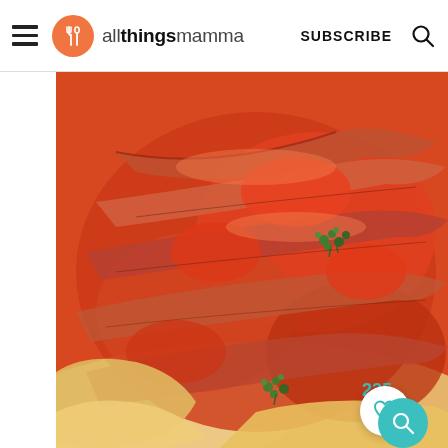allthingsmamma — SUBSCRIBE
[Figure (photo): Close-up photo of bacon pizza or flatbread with tomato sauce and fresh parsley garnish on a white plate]
235
[Figure (photo): Partial bottom image visible — appears to be another food item in light tones]